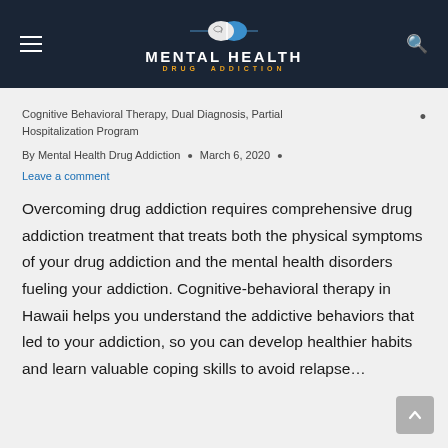MENTAL HEALTH DRUG ADDICTION
Cognitive Behavioral Therapy, Dual Diagnosis, Partial Hospitalization Program
By Mental Health Drug Addiction • March 6, 2020 • Leave a comment
Overcoming drug addiction requires comprehensive drug addiction treatment that treats both the physical symptoms of your drug addiction and the mental health disorders fueling your addiction. Cognitive-behavioral therapy in Hawaii helps you understand the addictive behaviors that led to your addiction, so you can develop healthier habits and learn valuable coping skills to avoid relapse...